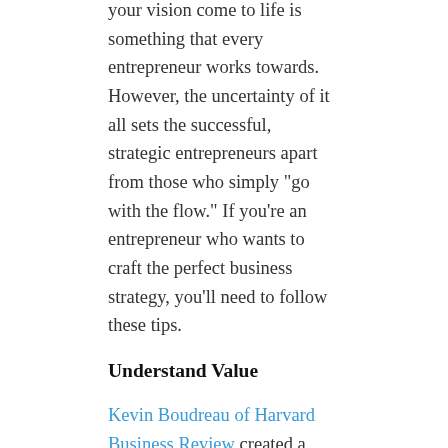your vision come to life is something that every entrepreneur works towards. However, the uncertainty of it all sets the successful, strategic entrepreneurs apart from those who simply “go with the flow.” If you’re an entrepreneur who wants to craft the perfect business strategy, you’ll need to follow these tips.
Understand Value
Kevin Boudreau of Harvard Business Review created a short guide to strategizing your entrepreneurial venture. According to Boudreau, the bare-bones questions that entrepreneurs should ask themselves from day one are the following:
1. Who are you serving?
2. What are you offering?
3. How are you able to deliver?
4. Why won’t it be copied?